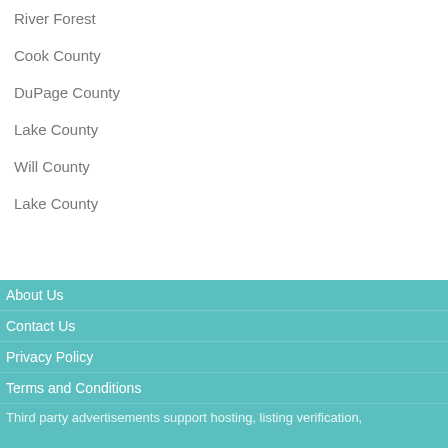River Forest
Cook County
DuPage County
Lake County
Will County
Lake County
About Us
Contact Us
Privacy Policy
Terms and Conditions
Third party advertisements support hosting, listing verification,